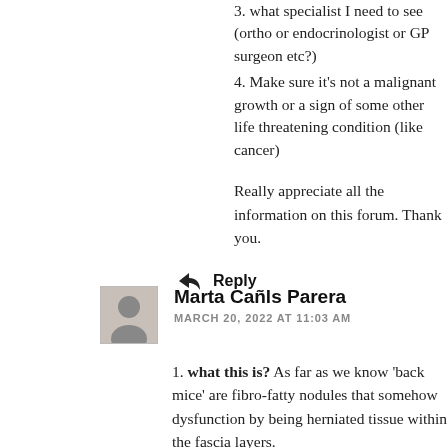3. what specialist I need to see (ortho or endocrinologist or GP surgeon etc?)
4. Make sure it's not a malignant growth or a sign of some other life threatening condition (like cancer)
Really appreciate all the information on this forum. Thank you.
Reply
Marta Cañls Parera
MARCH 20, 2022 AT 11:03 AM
1. what this is? As far as we know 'back mice' are fibro-fatty nodules that somehow dysfunction by being herniated tissue within the fascia layers.